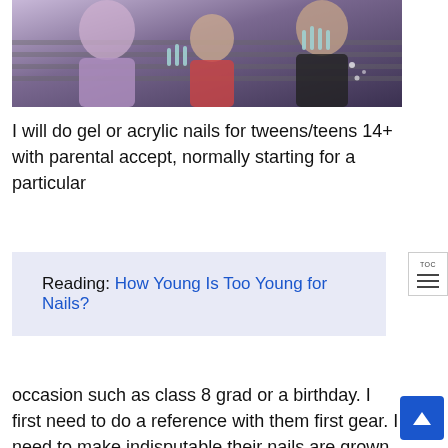[Figure (photo): Photo of three people showing their nails — an adult male, a young girl, and a teenage girl, all displaying their hands/nails toward the camera.]
I will do gel or acrylic nails for tweens/teens 14+ with parental accept, normally starting for a particular
Reading: How Young Is Too Young for Nails?
occasion such as class 8 grad or a birthday. I first need to do a reference with them first gear. I need to make indisputable their nails are grown up adequate to even handle tips and gelatin. I use gelatin more than acrylic as its